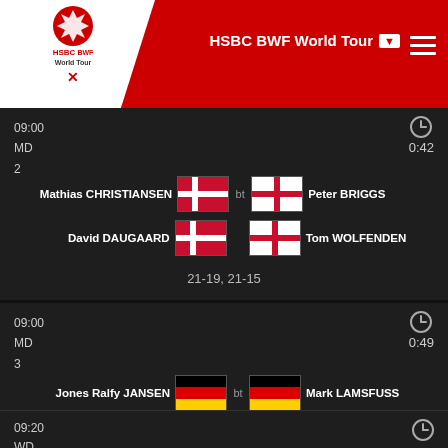HSBC BWF World Tour
09:00
MD
2
0:42
Mathias CHRISTIANSEN / David DAUGAARD bt Peter BRIGGS / Tom WOLFENDEN 21-19, 21-15
09:00
MD
3
0:49
Jones Ralfy JANSEN / Josche ZURWONNE bt Mark LAMSFUSS / Marvin SEIDEL 21-14, 19-21, 21-16
09:20
WD